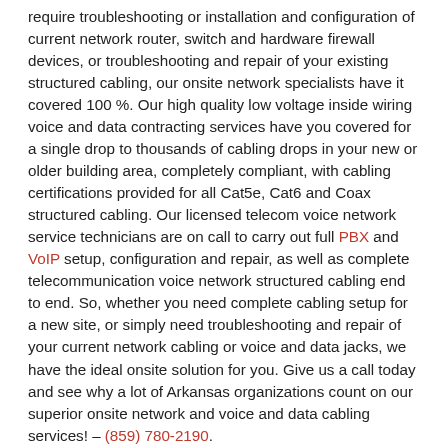require troubleshooting or installation and configuration of current network router, switch and hardware firewall devices, or troubleshooting and repair of your existing structured cabling, our onsite network specialists have it covered 100 %. Our high quality low voltage inside wiring voice and data contracting services have you covered for a single drop to thousands of cabling drops in your new or older building area, completely compliant, with cabling certifications provided for all Cat5e, Cat6 and Coax structured cabling. Our licensed telecom voice network service technicians are on call to carry out full PBX and VoIP setup, configuration and repair, as well as complete telecommunication voice network structured cabling end to end. So, whether you need complete cabling setup for a new site, or simply need troubleshooting and repair of your current network cabling or voice and data jacks, we have the ideal onsite solution for you. Give us a call today and see why a lot of Arkansas organizations count on our superior onsite network and voice and data cabling services! – (859) 780-2190.